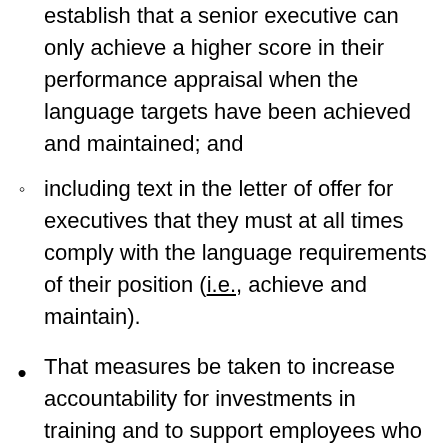establish that a senior executive can only achieve a higher score in their performance appraisal when the language targets have been achieved and maintained; and
including text in the letter of offer for executives that they must at all times comply with the language requirements of their position (i.e., achieve and maintain).
That measures be taken to increase accountability for investments in training and to support employees who demonstrate a commitment to learning